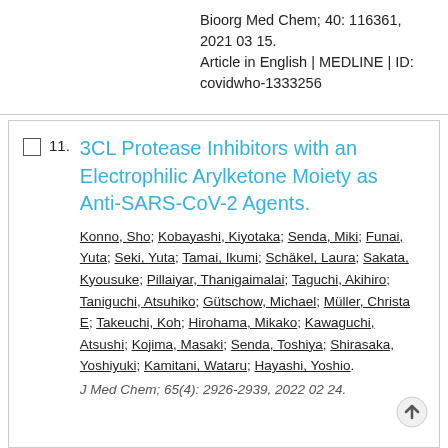Bioorg Med Chem; 40: 116361, 2021 03 15. Article in English | MEDLINE | ID: covidwho-1333256
11. 3CL Protease Inhibitors with an Electrophilic Arylketone Moiety as Anti-SARS-CoV-2 Agents.
Konno, Sho; Kobayashi, Kiyotaka; Senda, Miki; Funai, Yuta; Seki, Yuta; Tamai, Ikumi; Schäkel, Laura; Sakata, Kyousuke; Pillaiyar, Thanigaimalai; Taguchi, Akihiro; Taniguchi, Atsuhiko; Gütschow, Michael; Müller, Christa E; Takeuchi, Koh; Hirohama, Mikako; Kawaguchi, Atsushi; Kojima, Masaki; Senda, Toshiya; Shirasaka, Yoshiyuki; Kamitani, Wataru; Hayashi, Yoshio.
J Med Chem; 65(4): 2926-2939, 2022 02 24.